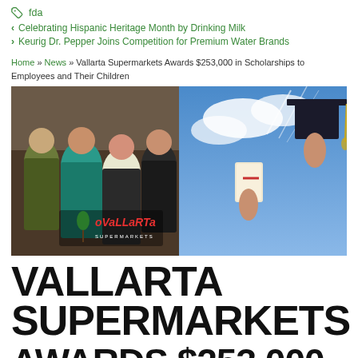fda
Celebrating Hispanic Heritage Month by Drinking Milk
Keurig Dr. Pepper Joins Competition for Premium Water Brands
Home » News » Vallarta Supermarkets Awards $253,000 in Scholarships to Employees and Their Children
[Figure (photo): Left half: Four female Vallarta Supermarkets employees in black aprons smiling at the camera in a kitchen setting with Vallarta Supermarkets logo. Right half: Hands raised holding a graduation cap and diploma against a blue sky backdrop.]
VALLARTA SUPERMARKETS AWARDS $253,000 IN